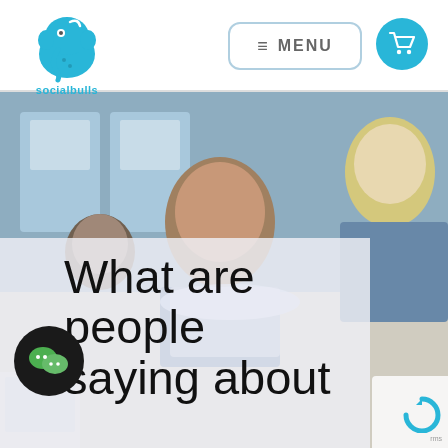[Figure (logo): Socialbulls blue elephant logo with text 'socialbulls' beneath]
≡  MENU
[Figure (illustration): Blue shopping cart icon inside a cyan circle button]
[Figure (photo): Office photo showing people leaning over a desk looking at a laptop screen]
What are people saying about
[Figure (logo): WeChat logo icon in a dark circle]
[Figure (illustration): Partial reCAPTCHA widget visible in bottom right corner]